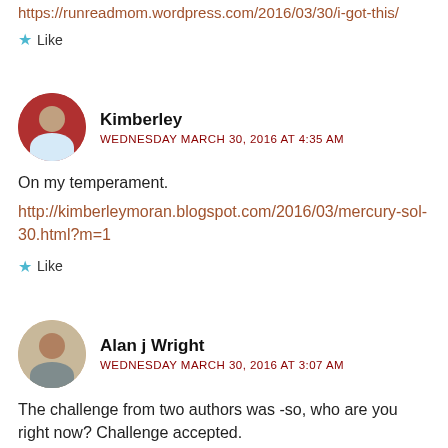https://runreadmom.wordpress.com/2016/03/30/i-got-this/
★ Like
Kimberley
WEDNESDAY MARCH 30, 2016 AT 4:35 AM
On my temperament.
http://kimberleymoran.blogspot.com/2016/03/mercury-sol-30.html?m=1
★ Like
Alan j Wright
WEDNESDAY MARCH 30, 2016 AT 3:07 AM
The challenge from two authors was -so, who are you right now? Challenge accepted.
http://livinglifetwice-alwrite.blogspot.com.au/2016/03/slice-of-life...